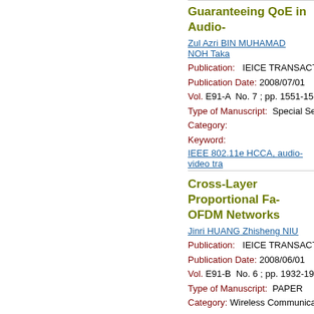Guaranteeing QoE in Audio-
Zul Azri BIN MUHAMAD NOH  Taka
Publication:   IEICE TRANSACTION
Publication Date: 2008/07/01
Vol. E91-A  No. 7 ; pp. 1551-1561
Type of Manuscript:  Special Section
Category:
Keyword:
IEEE 802.11e HCCA, audio-video tra
Cross-Layer Proportional Fa... OFDM Networks
Jinri HUANG  Zhisheng NIU
Publication:   IEICE TRANSACTION
Publication Date: 2008/06/01
Vol. E91-B  No. 6 ; pp. 1932-1941
Type of Manuscript:  PAPER
Category: Wireless Communication T
Keyword:
proportional fairness, packet schedulin